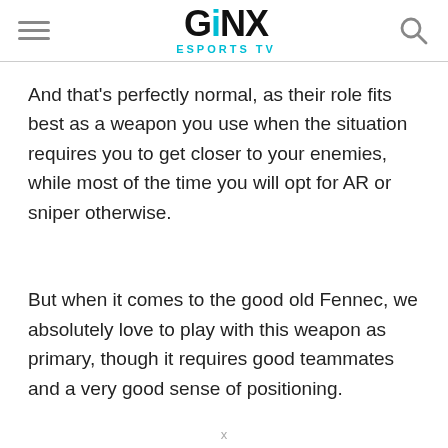GINX ESPORTS TV
And that's perfectly normal, as their role fits best as a weapon you use when the situation requires you to get closer to your enemies, while most of the time you will opt for AR or sniper otherwise.
But when it comes to the good old Fennec, we absolutely love to play with this weapon as primary, though it requires good teammates and a very good sense of positioning.
x